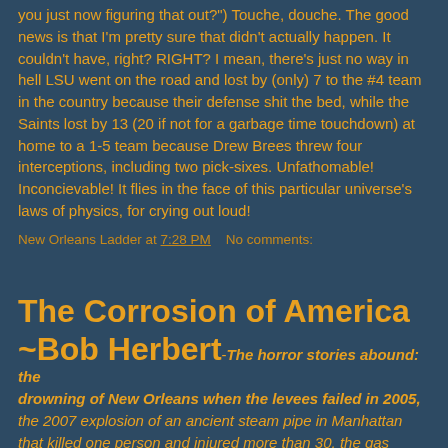you just now figuring that out?") Touche, douche. The good news is that I'm pretty sure that didn't actually happen. It couldn't have, right? RIGHT? I mean, there's just no way in hell LSU went on the road and lost by (only) 7 to the #4 team in the country because their defense shit the bed, while the Saints lost by 13 (20 if not for a garbage time touchdown) at home to a 1-5 team because Drew Brees threw four interceptions, including two pick-sixes. Unfathomable! Inconcievable! It flies in the face of this particular universe's laws of physics, for crying out loud!
New Orleans Ladder at 7:28 PM    No comments:
The Corrosion of America ~Bob Herbert
The horror stories abound: the drowning of New Orleans when the levees failed in 2005, the 2007 explosion of an ancient steam pipe in Manhattan that killed one person and injured more than 30, the gas pipeline explosion and fire last month in San Bruno, Calif., that killed seven and injured more than 50. There are